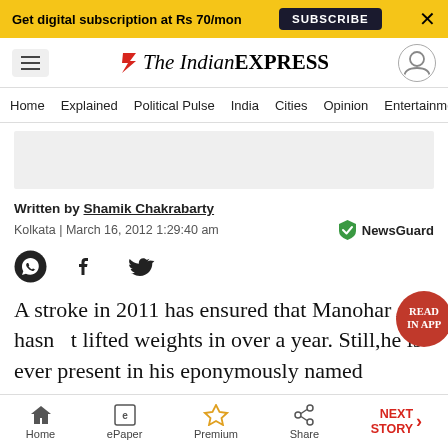Get digital subscription at Rs 70/mon  SUBSCRIBE  X
[Figure (logo): The Indian Express newspaper logo with red icon]
Home  Explained  Political Pulse  India  Cities  Opinion  Entertainment
[Figure (other): Advertisement placeholder grey box]
Written by Shamik Chakrabarty
Kolkata | March 16, 2012 1:29:40 am
[Figure (logo): NewsGuard logo badge]
[Figure (other): Social share icons: WhatsApp, Facebook, Twitter]
A stroke in 2011 has ensured that Manohar Ai hasn't lifted weights in over a year. Still,he is ever present in his eponymously named gymnasium in suburban Kolkata. The young
Home  ePaper  Premium  Share  NEXT STORY